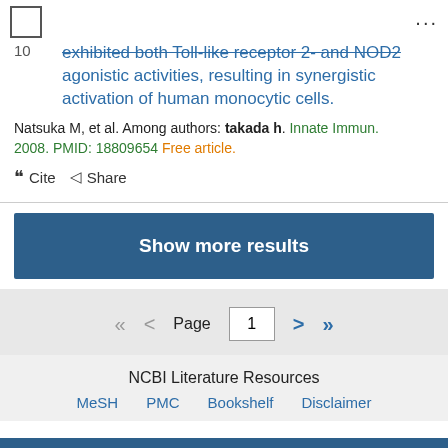exhibited both Toll-like receptor 2- and NOD2 agonistic activities, resulting in synergistic activation of human monocytic cells.
Natsuka M, et al. Among authors: takada h. Innate Immun. 2008. PMID: 18809654 Free article.
Cite   Share
Show more results
Page 1
NCBI Literature Resources
MeSH   PMC   Bookshelf   Disclaimer